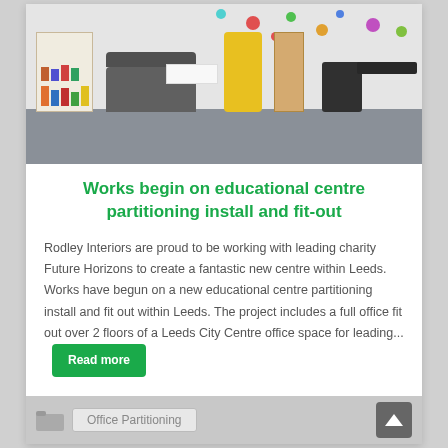[Figure (photo): Interior photo of an educational centre room with grey sofa, yellow chair, dark chair, bookshelf, spotted wall decorations, and grey carpet flooring.]
Works begin on educational centre partitioning install and fit-out
Rodley Interiors are proud to be working with leading charity Future Horizons to create a fantastic new centre within Leeds. Works have begun on a new educational centre partitioning install and fit out within Leeds. The project includes a full office fit out over 2 floors of a Leeds City Centre office space for leading...
Office Partitioning